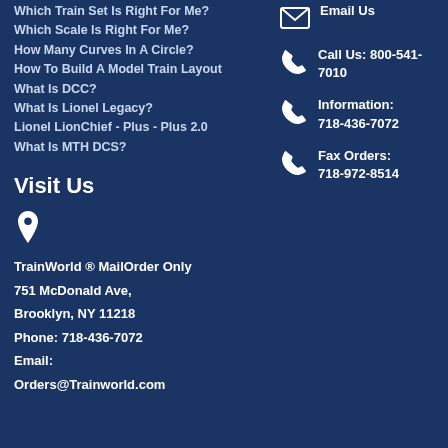Which Train Set Is Right For Me?
Which Scale Is Right For Me?
How Many Curves In A Circle?
How To Build A Model Train Layout
What Is DCC?
What Is Lionel Legacy?
Lionel LionChief - Plus - Plus 2.0
What Is MTH DCS?
Email Us
Call Us: 800-541-7010
Information: 718-436-7072
Fax Orders: 718-972-8514
Visit Us
TrainWorld ® MailOrder Only
751 McDonald Ave,
Brooklyn, NY 11218
Phone: 718-436-7072
Email:
Orders@Trainworld.com